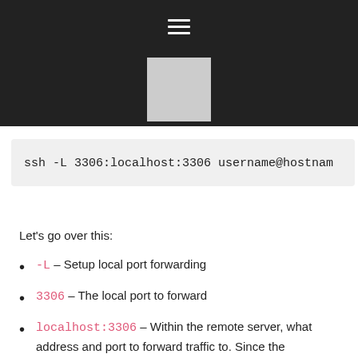[Figure (screenshot): Dark header bar with hamburger menu icon and a light gray square logo placeholder centered below]
ssh -L 3306:localhost:3306 username@hostnam
Let's go over this:
-L – Setup local port forwarding
3306 – The local port to forward
localhost:3306 – Within the remote server, what address and port to forward traffic to. Since the